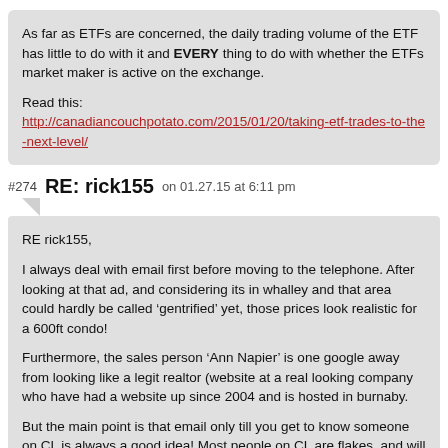As far as ETFs are concerned, the daily trading volume of the ETF has little to do with it and EVERY thing to do with whether the ETFs market maker is active on the exchange.
Read this:
http://canadiancouchpotato.com/2015/01/20/taking-etf-trades-to-the-next-level/
#274  RE: rick155  on 01.27.15 at 6:11 pm
RE rick155,

I always deal with email first before moving to the telephone. After looking at that ad, and considering its in whalley and that area could hardly be called ‘gentrified’ yet, those prices look realistic for a 600ft condo!

Furthermore, the sales person ‘Ann Napier’ is one google away from looking like a legit realtor (website at a real looking company who have had a website up since 2004 and is hosted in burnaby.

But the main point is that email only till you get to know someone on CL is always a good idea! Most people on CL are flakes, and will flake off so i’d